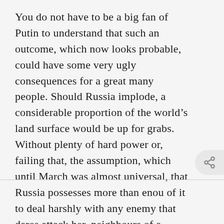You do not have to be a big fan of Putin to understand that such an outcome, which now looks probable, could have some very ugly consequences for a great many people. Should Russia implode, a considerable proportion of the world’s land surface would be up for grabs. Without plenty of hard power or, failing that, the assumption, which until March was almost universal, that Russia possesses more than enou­gh of it to deal harshly with any enemy that dares attack her, neighbours of a predatory disposition will not hesitate to make the most of an opportunity few can have thought would ever come their way.